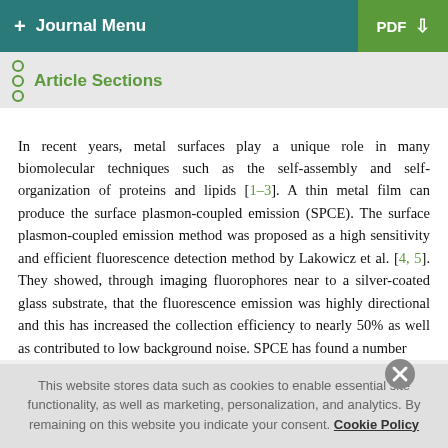+ Journal Menu   PDF ↓
Article Sections
In recent years, metal surfaces play a unique role in many biomolecular techniques such as the self-assembly and self-organization of proteins and lipids [1–3]. A thin metal film can produce the surface plasmon-coupled emission (SPCE). The surface plasmon-coupled emission method was proposed as a high sensitivity and efficient fluorescence detection method by Lakowicz et al. [4, 5]. They showed, through imaging fluorophores near to a silver-coated glass substrate, that the fluorescence emission was highly directional and this has increased the collection efficiency to nearly 50% as well as contributed to low background noise. SPCE has found a number
This website stores data such as cookies to enable essential site functionality, as well as marketing, personalization, and analytics. By remaining on this website you indicate your consent. Cookie Policy